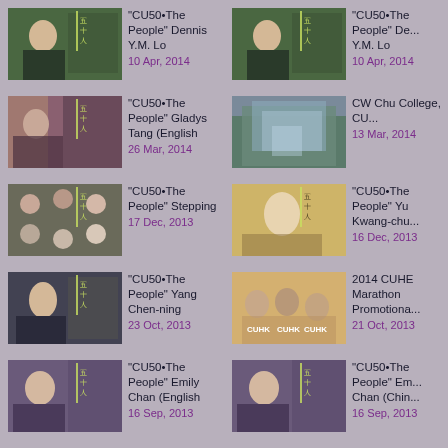[Figure (screenshot): Video thumbnail: man in suit, green background with Chinese text overlay]
"CU50•The People" Dennis Y.M. Lo
10 Apr, 2014
[Figure (screenshot): Video thumbnail: man in suit, green background with Chinese text overlay]
"CU50•The People" De... Y.M. Lo
10 Apr, 2014
[Figure (screenshot): Video thumbnail: woman with colorful background and Chinese text overlay]
"CU50•The People" Gladys Tang (English
26 Mar, 2014
[Figure (screenshot): Video thumbnail: building exterior, CW Chu College]
CW Chu College, CU...
13 Mar, 2014
[Figure (screenshot): Video thumbnail: group of students with Chinese text overlay]
"CU50•The People" Stepping
17 Dec, 2013
[Figure (screenshot): Video thumbnail: elderly man in glasses with Chinese text overlay]
"CU50•The People" Yu Kwang-chu...
16 Dec, 2013
[Figure (screenshot): Video thumbnail: man in suit in library setting with Chinese text overlay]
"CU50•The People" Yang Chen-ning
23 Oct, 2013
[Figure (screenshot): Video thumbnail: group of runners in CUHK shirts]
2014 CUHE Marathon Promotiona...
21 Oct, 2013
[Figure (screenshot): Video thumbnail: woman in library with Chinese text overlay]
"CU50•The People" Emily Chan (English
16 Sep, 2013
[Figure (screenshot): Video thumbnail: woman in library with Chinese text overlay]
"CU50•The People" Em... Chan (Chin...
16 Sep, 2013
[Figure (screenshot): Video thumbnail: partial, cropped at bottom]
"CU50•The
[Figure (screenshot): Video thumbnail: partial, cropped at bottom]
"CU50•The